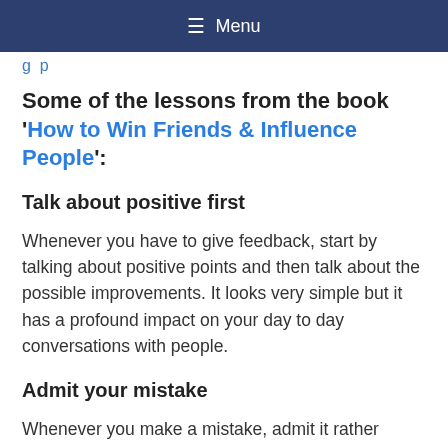Menu
g p
Some of the lessons from the book 'How to Win Friends & Influence People':
Talk about positive first
Whenever you have to give feedback, start by talking about positive points and then talk about the possible improvements. It looks very simple but it has a profound impact on your day to day conversations with people.
Admit your mistake
Whenever you make a mistake, admit it rather